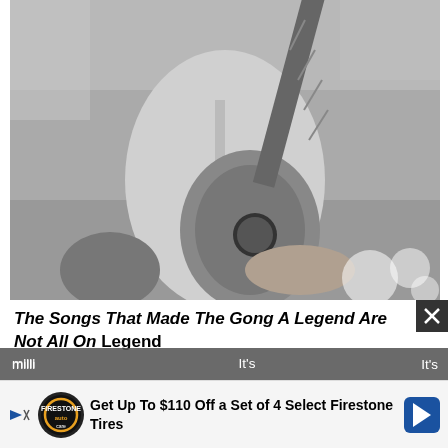[Figure (photo): Black and white photograph of a man playing an acoustic guitar outdoors, torso shot, wearing a light shirt, trees and grass in background]
The Songs That Made The Gong A Legend Are Not All On Legend
Bob Marley's greatest hits collection Legend is the top-selling reggae album of all time, with at least 15 milli... It's a go... let's
[Figure (infographic): Advertisement banner: Get Up To $110 Off a Set of 4 Select Firestone Tires, with Firestone auto logo and navigation arrow icon]